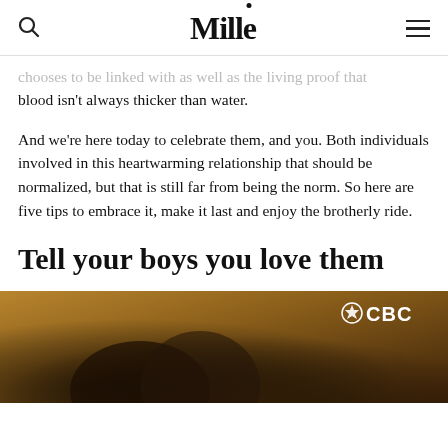Mille
chooses to be linked with as well as the living proof that blood isn't always thicker than water.
And we're here today to celebrate them, and you. Both individuals involved in this heartwarming relationship that should be normalized, but that is still far from being the norm. So here are five tips to embrace it, make it last and enjoy the brotherly ride.
Tell your boys you love them
[Figure (photo): Two men embracing in a warm, dimly lit scene with a CBC logo watermark in the upper right corner.]